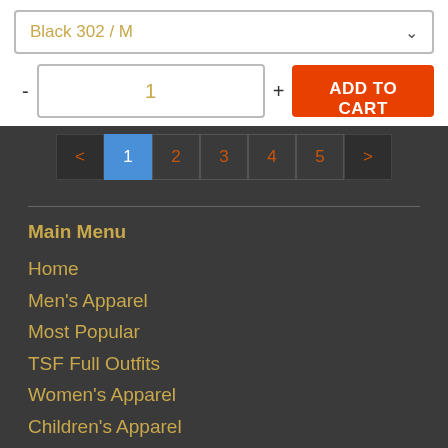Black 302 / M
- 1 + ADD TO CART
< 1 2 3 4 5 >
Main Menu
Home
Men's Apparel
Most Popular
TSF Full Outfits
Women's Apparel
Children's Apparel
100% Money Back Guarantee
Sizing and Shipping